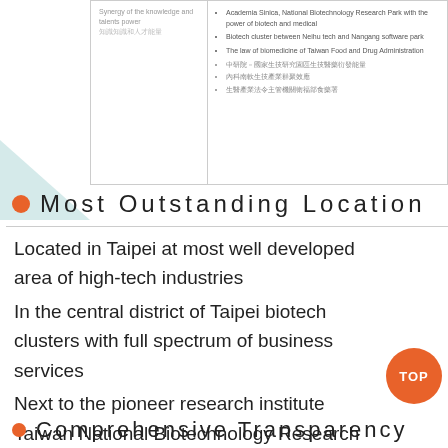|  |  |
| --- | --- |
| Synergy of the knowledge and talents power 知識知識和人才能量 | • Academia Sinica, National Biotechnology Research Park with the power of biotech and medical
• Biotech cluster between Neihu tech and Nangang software park
• The law of biomedicine of Taiwan Food and Drug Administration

• 中研院－國家生技研究園區生技醫藥衍發能量
• 內科南軟生技產業群聚效應
• 生醫產業法令主管機關衛福部食藥署 |
Most Outstanding Location
Located in Taipei at most well developed area of high-tech industries
In the central district of Taipei biotech clusters with full spectrum of business services
Next to the pioneer research institute Taiwan National Biotechnology Research Park
Comprehensive Transparency...